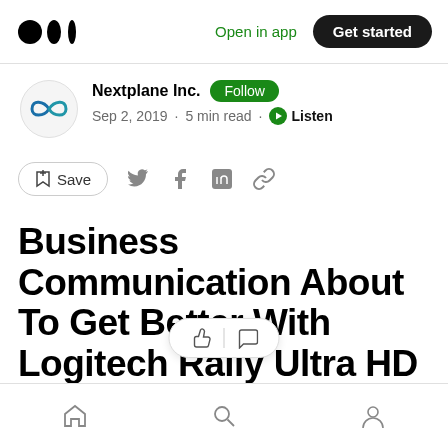Open in app · Get started
Nextplane Inc. · Follow · Sep 2, 2019 · 5 min read · Listen
Save
Business Communication About To Get Better With Logitech Rally Ultra HD PTZ Camera
Home · Search · Profile